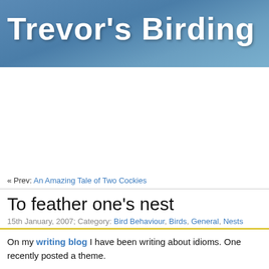Trevor's Birding
« Prev: An Amazing Tale of Two Cockies
To feather one's nest
15th January, 2007; Category: Bird Behaviour, Birds, General, Nests
On my writing blog I have been writing about idioms. One recently posted a theme.